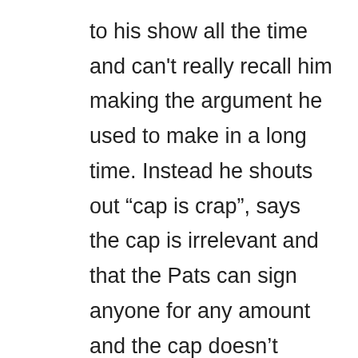to his show all the time and can't really recall him making the argument he used to make in a long time. Instead he shouts out “cap is crap”, says the cap is irrelevant and that the Pats can sign anyone for any amount and the cap doesn’t matter, and that Robert Kraft is cheap.
Also purposely not said on the show because it works against his argument is that the cap room of $14 million, or whatever it is that